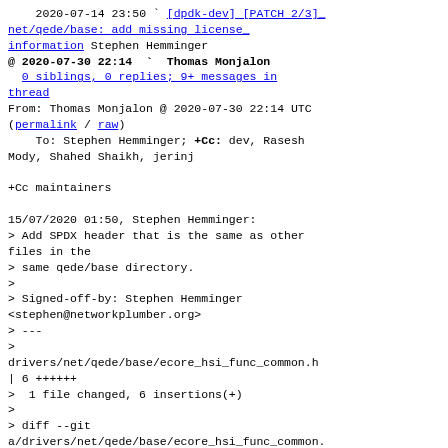2020-07-14 23:50 ` [dpdk-dev] [PATCH 2/3] net/qede/base: add missing license information Stephen Hemminger
@ 2020-07-30 22:14 ` Thomas Monjalon
  0 siblings, 0 replies; 9+ messages in thread
From: Thomas Monjalon @ 2020-07-30 22:14 UTC (permalink / raw)
    To: Stephen Hemminger; +Cc: dev, Rasesh Mody, Shahed Shaikh, jerinj

+Cc maintainers

15/07/2020 01:50, Stephen Hemminger:
> Add SPDX header that is the same as other files in the
> same qede/base directory.
>
> Signed-off-by: Stephen Hemminger <stephen@networkplumber.org>
> ---
>
drivers/net/qede/base/ecore_hsi_func_common.h
| 6 ++++++
>  1 file changed, 6 insertions(+)
>
> diff --git
a/drivers/net/qede/base/ecore_hsi_func_common.
b/drivers/net/qede/base/ecore_hsi_func_common.
> index 2cd175163bcc..0e1187ba20a2 100644